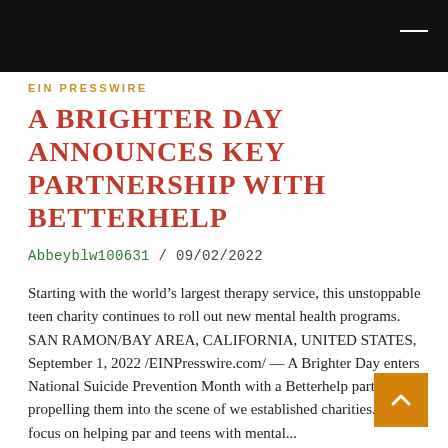EIN PRESSWIRE
A BRIGHTER DAY ANNOUNCES KEY PARTNERSHIP WITH BETTERHELP
Abbeyblw100631 / 09/02/2022
Starting with the world’s largest therapy service, this unstoppable teen charity continues to roll out new mental health programs. SAN RAMON/BAY AREA, CALIFORNIA, UNITED STATES, September 1, 2022 /EINPresswire.com/ — A Brighter Day enters National Suicide Prevention Month with a Betterhelp partnership, propelling them into the scene of well established charities. With a focus on helping parents and teens with mental...